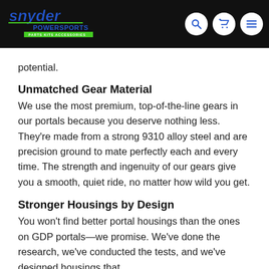Snyder Powersports — Parts, Kits & Accessories
potential.
Unmatched Gear Material
We use the most premium, top-of-the-line gears in our portals because you deserve nothing less. They're made from a strong 9310 alloy steel and are precision ground to mate perfectly each and every time. The strength and ingenuity of our gears give you a smooth, quiet ride, no matter how wild you get.
Stronger Housings by Design
You won't find better portal housings than the ones on GDP portals—we promise. We've done the research, we've conducted the tests, and we've designed housings that